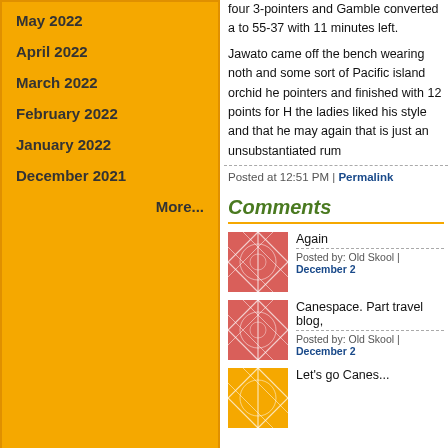May 2022
April 2022
March 2022
February 2022
January 2022
December 2021
More...
four 3-pointers and Gamble converted a to 55-37 with 11 minutes left.
Jawato came off the bench wearing noth and some sort of Pacific island orchid he pointers and finished with 12 points for H the ladies liked his style and that he may again that is just an unsubstantiated rum
Posted at 12:51 PM | Permalink
Comments
Again
Posted by: Old Skool | December 2
Canespace. Part travel blog,
Posted by: Old Skool | December 2
Let's go Canes...